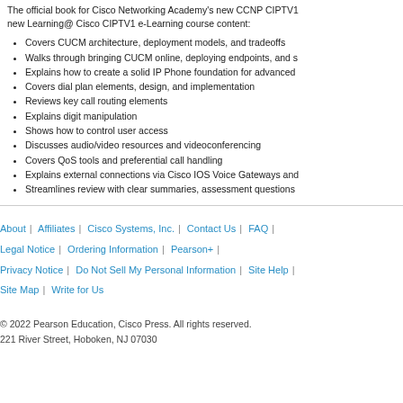The official book for Cisco Networking Academy's new CCNP CIPTV1 new Learning@ Cisco CIPTV1 e-Learning course content:
Covers CUCM architecture, deployment models, and tradeoffs
Walks through bringing CUCM online, deploying endpoints, and s
Explains how to create a solid IP Phone foundation for advanced
Covers dial plan elements, design, and implementation
Reviews key call routing elements
Explains digit manipulation
Shows how to control user access
Discusses audio/video resources and videoconferencing
Covers QoS tools and preferential call handling
Explains external connections via Cisco IOS Voice Gateways and
Streamlines review with clear summaries, assessment questions
About | Affiliates | Cisco Systems, Inc. | Contact Us | FAQ | Legal Notice | Ordering Information | Pearson+ | Privacy Notice | Do Not Sell My Personal Information | Site Help | Site Map | Write for Us
© 2022 Pearson Education, Cisco Press. All rights reserved.
221 River Street, Hoboken, NJ 07030